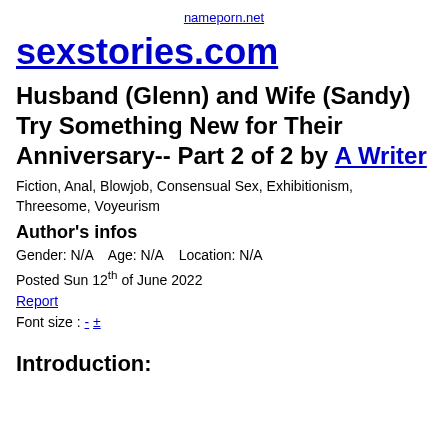nameporn.net
sexstories.com
Husband (Glenn) and Wife (Sandy) Try Something New for Their Anniversary-- Part 2 of 2 by A Writer
Fiction, Anal, Blowjob, Consensual Sex, Exhibitionism, Threesome, Voyeurism
Author's infos
Gender: N/A   Age: N/A   Location: N/A
Posted Sun 12th of June 2022
Report
Font size : - ±
Introduction: